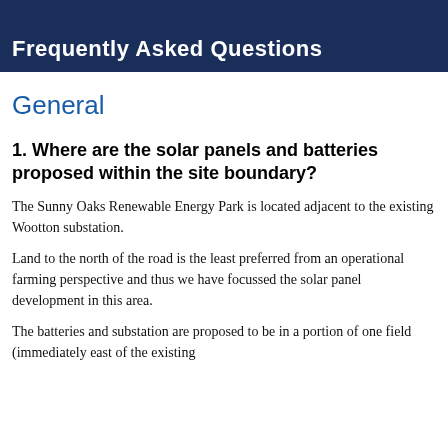Frequently Asked Questions
General
1. Where are the solar panels and batteries proposed within the site boundary?
The Sunny Oaks Renewable Energy Park is located adjacent to the existing Wootton substation.
Land to the north of the road is the least preferred from an operational farming perspective and thus we have focussed the solar panel development in this area.
The batteries and substation are proposed to be in a portion of one field (immediately east of the existing